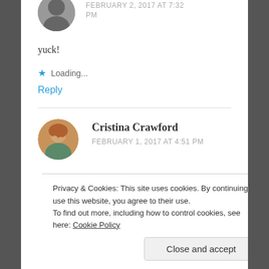FEBRUARY 2, 2017 AT 7:32 PM
yuck!
★ Loading...
Reply
Cristina Crawford
FEBRUARY 1, 2017 AT 4:51 PM
Privacy & Cookies: This site uses cookies. By continuing to use this website, you agree to their use.
To find out more, including how to control cookies, see here: Cookie Policy
Close and accept
Reply